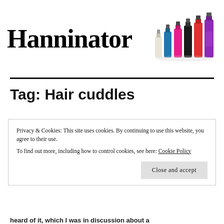[Figure (logo): Hanninator blog logo with handwritten-style text and nail polish bottles image on the right]
Tag: Hair cuddles
Privacy & Cookies: This site uses cookies. By continuing to use this website, you agree to their use.
To find out more, including how to control cookies, see here: Cookie Policy
Close and accept
heard of it, which I was in discussion about a